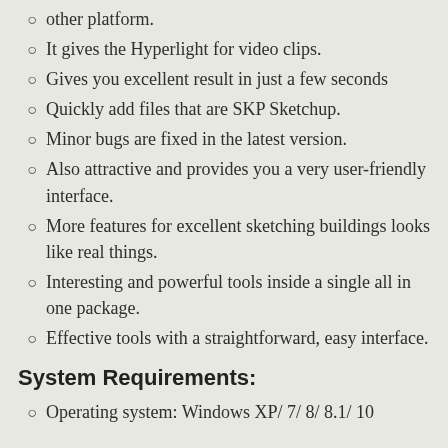other platform.
It gives the Hyperlight for video clips.
Gives you excellent result in just a few seconds
Quickly add files that are SKP Sketchup.
Minor bugs are fixed in the latest version.
Also attractive and provides you a very user-friendly interface.
More features for excellent sketching buildings looks like real things.
Interesting and powerful tools inside a single all in one package.
Effective tools with a straightforward, easy interface.
System Requirements:
Operating system: Windows XP/ 7/ 8/ 8.1/ 10